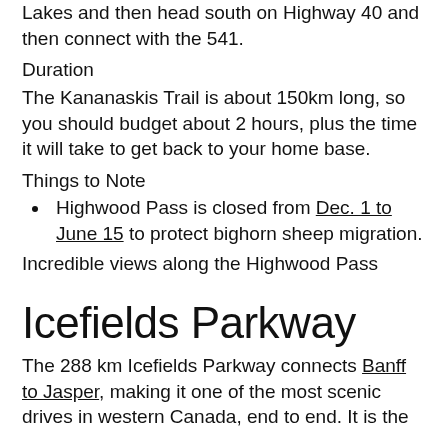to go from Canmore through Spray Lakes and then head south on Highway 40 and then connect with the 541.
Duration
The Kananaskis Trail is about 150km long, so you should budget about 2 hours, plus the time it will take to get back to your home base.
Things to Note
Highwood Pass is closed from Dec. 1 to June 15 to protect bighorn sheep migration.
Incredible views along the Highwood Pass
Icefields Parkway
The 288 km Icefields Parkway connects Banff to Jasper, making it one of the most scenic drives in western Canada, end to end. It is the